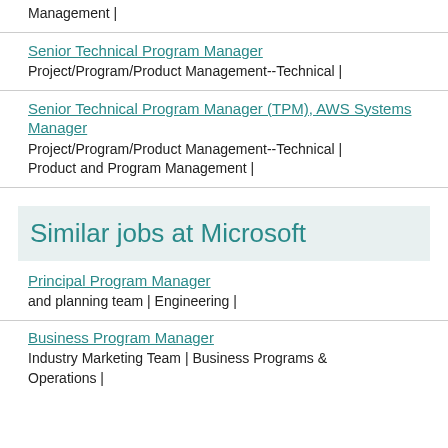Management |
Senior Technical Program Manager
Project/Program/Product Management--Technical |
Senior Technical Program Manager (TPM), AWS Systems Manager
Project/Program/Product Management--Technical | Product and Program Management |
Similar jobs at Microsoft
Principal Program Manager
and planning team | Engineering |
Business Program Manager
Industry Marketing Team | Business Programs & Operations |